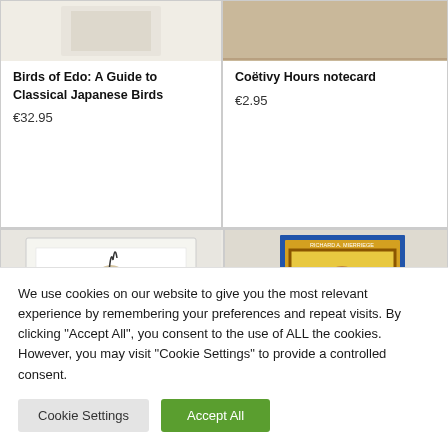[Figure (photo): Partial view of a bird illustration or product image (top left, cropped)]
Birds of Edo: A Guide to Classical Japanese Birds
€32.95
[Figure (photo): Partial view of Coëtivy Hours notecard product image (top right, cropped)]
Coëtivy Hours notecard
€2.95
[Figure (photo): A greeting card or art print showing a figure in a teal robe (bottom left, partially visible)]
[Figure (photo): Book cover: Four Gospels, author Richard A. Mierrege, Classics series, illuminated manuscript style cover art (bottom right, partially visible)]
We use cookies on our website to give you the most relevant experience by remembering your preferences and repeat visits. By clicking "Accept All", you consent to the use of ALL the cookies. However, you may visit "Cookie Settings" to provide a controlled consent.
Cookie Settings
Accept All